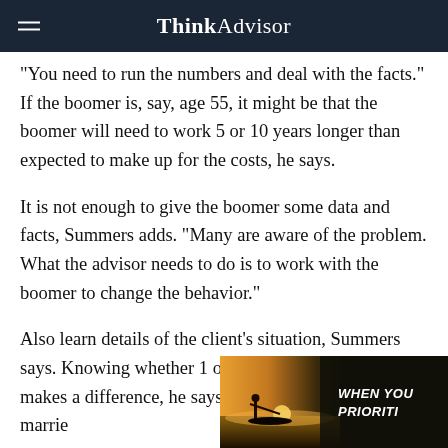ThinkAdvisor
“You need to run the numbers and deal with the facts.” If the boomer is, say, age 55, it might be that the boomer will need to work 5 or 10 years longer than expected to make up for the costs, he says.
It is not enough to give the boomer some data and facts, Summers adds. “Many are aware of the problem. What the advisor needs to do is to work with the boomer to change the behavior.”
Also learn details of the client’s situation, Summers says. Knowing whether 1 or 2 lives are involved makes a difference, he says. whether the client is marrie
[Figure (photo): Advertisement overlay in bottom right with silhouette of person and text 'WHEN YOU PRIORITI']